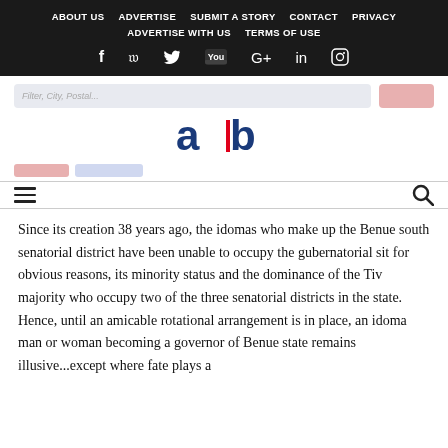ABOUT US  ADVERTISE  SUBMIT A STORY  CONTACT  PRIVACY  ADVERTISE WITH US  TERMS OF USE
[Figure (logo): Website navigation header with social icons (Facebook, Twitter, YouTube, Google+, LinkedIn, Instagram) and logo 'ab' with red divider bar]
Since its creation 38 years ago, the idomas who make up the Benue south senatorial district have been unable to occupy the gubernatorial sit for obvious reasons, its minority status and the dominance of the Tiv majority who occupy two of the three senatorial districts in the state. Hence, until an amicable rotational arrangement is in place, an idoma man or woman becoming a governor of Benue state remains illusive...except where fate plays a